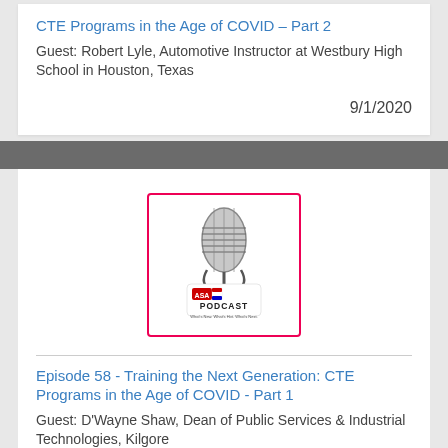CTE Programs in the Age of COVID – Part 2
Guest: Robert Lyle, Automotive Instructor at Westbury High School in Houston, Texas
9/1/2020
[Figure (logo): ASA Podcast logo with vintage microphone and text 'ASA PODCAST - What's New. What's Hot. What's Next.']
Episode 58 - Training the Next Generation: CTE Programs in the Age of COVID - Part 1
Guest: D'Wayne Shaw, Dean of Public Services & Industrial Technologies, Kilgore